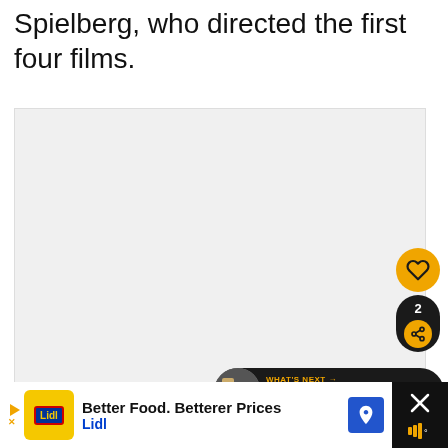Spielberg, who directed the first four films.
[Figure (photo): Image slideshow area with carousel dots indicator, showing a mostly blank/white image placeholder with three dots at the bottom center.]
[Figure (infographic): UI overlay elements: orange heart/like button, share button with count 2, and 'What's Next' card showing 'Dirty Dancing Quotes Fro...']
[Figure (infographic): Advertisement bar at bottom: Lidl ad 'Better Food. Betterer Prices' with yellow Lidl logo, blue navigation arrow, and close button with speaker icon on right side.]